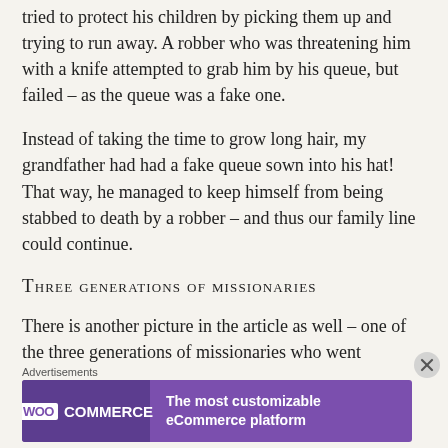tried to protect his children by picking them up and trying to run away. A robber who was threatening him with a knife attempted to grab him by his queue, but failed – as the queue was a fake one.
Instead of taking the time to grow long hair, my grandfather had had a fake queue sown into his hat! That way, he managed to keep himself from being stabbed to death by a robber – and thus our family line could continue.
Three generations of missionaries
There is another picture in the article as well – one of the three generations of missionaries who went
Advertisements
[Figure (other): WooCommerce advertisement banner: purple background with WooCommerce logo on left and text 'The most customizable eCommerce platform' on right.]